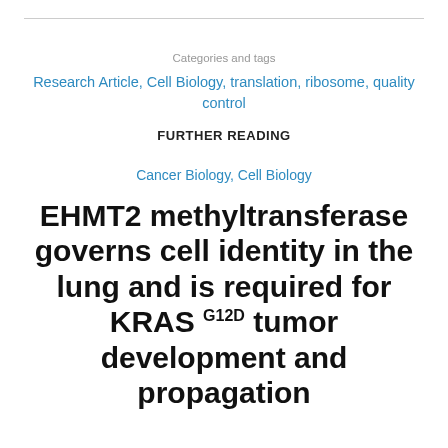Categories and tags
Research Article, Cell Biology, translation, ribosome, quality control
FURTHER READING
Cancer Biology, Cell Biology
EHMT2 methyltransferase governs cell identity in the lung and is required for KRAS G12D tumor development and propagation